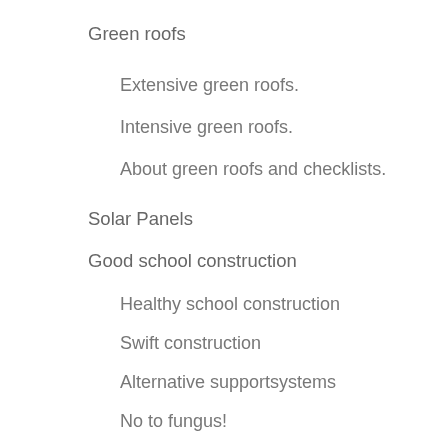Green roofs
Extensive green roofs.
Intensive green roofs.
About green roofs and checklists.
Solar Panels
Good school construction
Healthy school construction
Swift construction
Alternative supportsystems
No to fungus!
Design and sustainability
Effective sound conditions
Competitive
Longevity – PPP Buildings